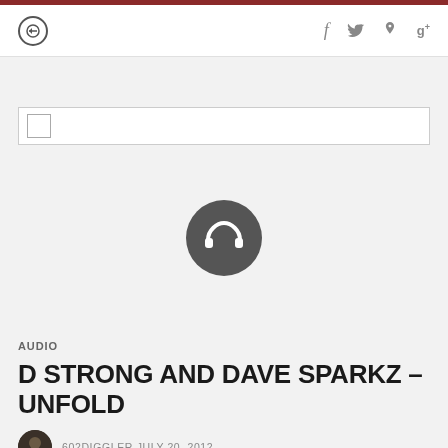navigation bar with back icon and social icons: f, twitter, pinterest, g+
[Figure (screenshot): Search/filter bar with checkbox on left]
[Figure (illustration): Dark circular headphone icon button, centered]
AUDIO
D STRONG AND DAVE SPARKZ – UNFOLD
602DIGGLER JULY 20, 2012